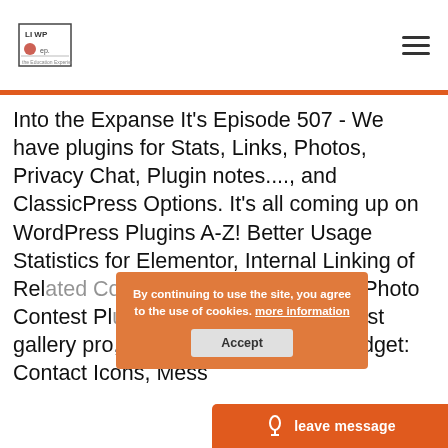WP [logo] | hamburger menu
Into the Expanse It's Episode 507 - We have plugins for Stats, Links, Photos, Privacy Chat, Plugin notes...., and ClassicPress Options. It's all coming up on WordPress Plugins A-Z! Better Usage Statistics for Elementor, Internal Linking of Related Contents, Contest Gallery – Photo Contest Plugin for WordPress - contest gallery pro, Disable Floating Chat Widget: Contact Icons, Mess
By continuing to use the site, you agree to the use of cookies. more information
Accept
leave message